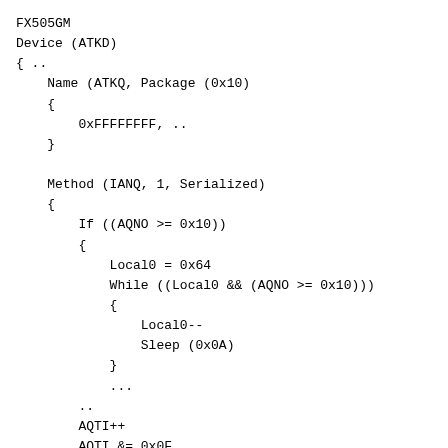FX505GM
Device (ATKD)
{ ..
    Name (ATKQ, Package (0x10)
    {
        0xFFFFFFFF, ..
    }

    Method (IANQ, 1, Serialized)
    {
        If ((AQNO >= 0x10))
        {
            Local0 = 0x64
            While ((Local0 && (AQNO >= 0x10)))
            {
                Local0--
                Sleep (0x0A)
            }
            ...
        ..
        AQTI++
        AQTI &= 0x0F
        ATKQ [AQTI] = Arg0
        ...
    }

    Method (GANQ, 0, Serialized)
    {
        ..
        Fi AQNI...